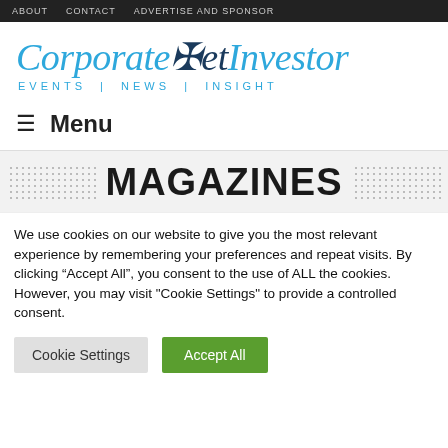ABOUT   CONTACT   ADVERTISE AND SPONSOR
[Figure (logo): CorporateJetInvestor logo with tagline EVENTS | NEWS | INSIGHT]
≡  Menu
MAGAZINES
We use cookies on our website to give you the most relevant experience by remembering your preferences and repeat visits. By clicking "Accept All", you consent to the use of ALL the cookies. However, you may visit "Cookie Settings" to provide a controlled consent.
Cookie Settings   Accept All